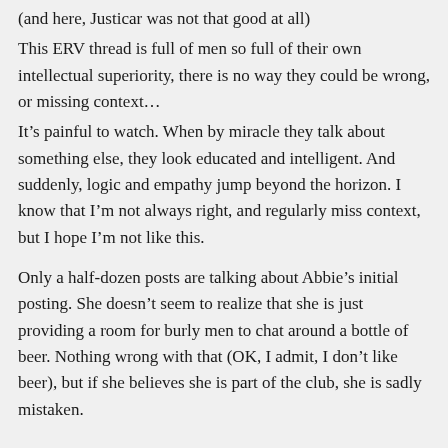(and here, Justicar was not that good at all)
This ERV thread is full of men so full of their own intellectual superiority, there is no way they could be wrong, or missing context…
It's painful to watch. When by miracle they talk about something else, they look educated and intelligent. And suddenly, logic and empathy jump beyond the horizon. I know that I'm not always right, and regularly miss context, but I hope I'm not like this.
Only a half-dozen posts are talking about Abbie's initial posting. She doesn't seem to realize that she is just providing a room for burly men to chat around a bottle of beer. Nothing wrong with that (OK, I admit, I don't like beer), but if she believes she is part of the club, she is sadly mistaken.